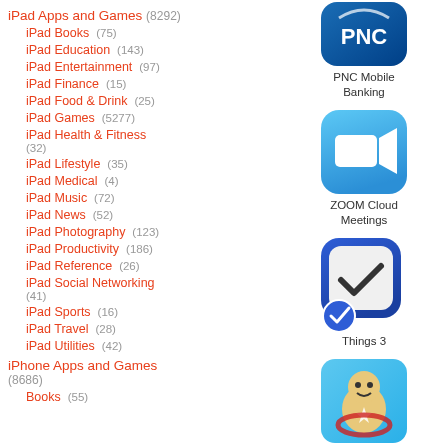iPad Apps and Games (8292)
iPad Books (75)
iPad Education (143)
iPad Entertainment (97)
iPad Finance (15)
iPad Food & Drink (25)
iPad Games (5277)
iPad Health & Fitness (32)
iPad Lifestyle (35)
iPad Medical (4)
iPad Music (72)
iPad News (52)
iPad Photography (123)
iPad Productivity (186)
iPad Reference (26)
iPad Social Networking (41)
iPad Sports (16)
iPad Travel (28)
iPad Utilities (42)
iPhone Apps and Games (8686)
Books (55)
[Figure (screenshot): PNC Mobile Banking app icon - blue gradient with PNC logo]
PNC Mobile Banking
[Figure (screenshot): ZOOM Cloud Meetings app icon - blue with camera/video symbol]
ZOOM Cloud Meetings
[Figure (screenshot): Things 3 app icon - blue with checkbox and checkmark]
Things 3
[Figure (screenshot): Kick the Buddy app icon - cartoon character with decorations]
Kick the Buddy
[Figure (screenshot): App icon partially visible - abacus or similar counting tool]